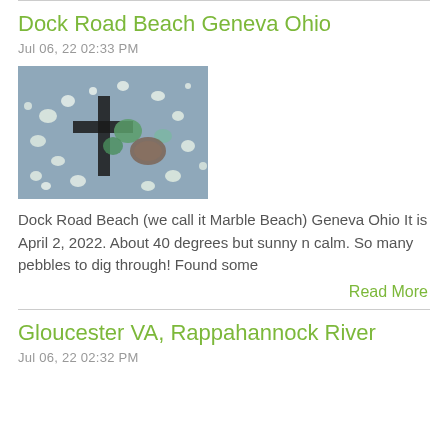Dock Road Beach Geneva Ohio
Jul 06, 22 02:33 PM
[Figure (photo): A photo of sea glass and pebbles collected from Dock Road Beach (Marble Beach) in Geneva, Ohio, arranged on a dark surface.]
Dock Road Beach (we call it Marble Beach) Geneva Ohio It is April 2, 2022. About 40 degrees but sunny n calm. So many pebbles to dig through! Found some
Read More
Gloucester VA, Rappahannock River
Jul 06, 22 02:32 PM